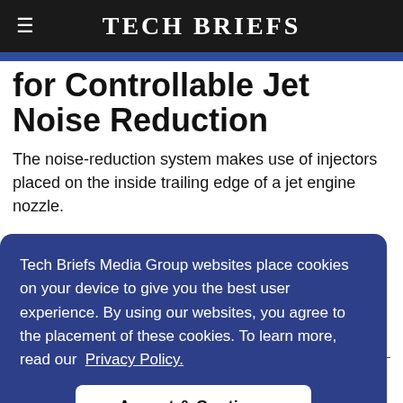Tech Briefs
for Controllable Jet Noise Reduction
The noise-reduction system makes use of injectors placed on the inside trailing edge of a jet engine nozzle.
Tech Briefs Media Group websites place cookies on your device to give you the best user experience. By using our websites, you agree to the placement of these cookies. To learn more, read our Privacy Policy.
Accept & Continue
...oped a ...ngine ...rports, ...use of recent high-bypass-ratio jet engine designs, noise continues to be